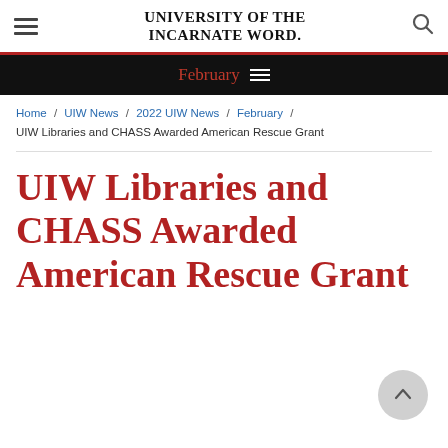UNIVERSITY OF THE INCARNATE WORD
February
Home / UIW News / 2022 UIW News / February / UIW Libraries and CHASS Awarded American Rescue Grant
UIW Libraries and CHASS Awarded American Rescue Grant